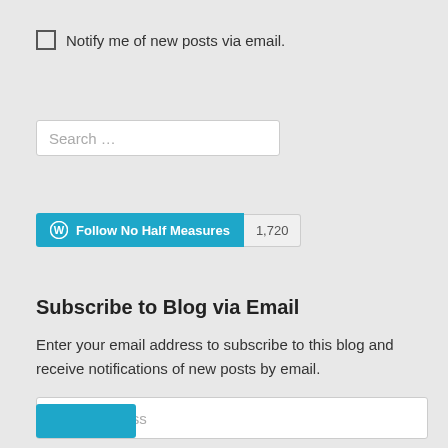Notify me of new posts via email.
[Figure (screenshot): Search input field with placeholder text 'Search …']
[Figure (screenshot): Follow No Half Measures button (blue) with follower count badge showing 1,720]
Subscribe to Blog via Email
Enter your email address to subscribe to this blog and receive notifications of new posts by email.
[Figure (screenshot): Email Address input field and partially visible blue subscribe button]